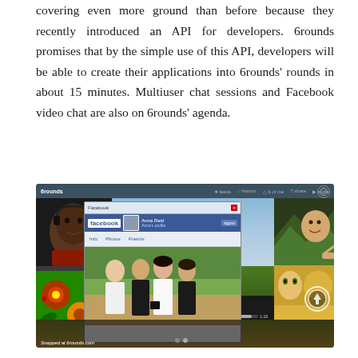covering even more ground than before because they recently introduced an API for developers. 6rounds promises that by the simple use of this API, developers will be able to create their applications into 6rounds' rounds in about 15 minutes. Multiuser chat sessions and Facebook video chat are also on 6rounds' agenda.
[Figure (screenshot): Screenshot of the 6rounds video chat interface showing a Facebook profile page open in a popup window, with video streams of people on the left and right sides, and flowers/nature in the background. Caption reads 'Snapped at 6rounds.com']